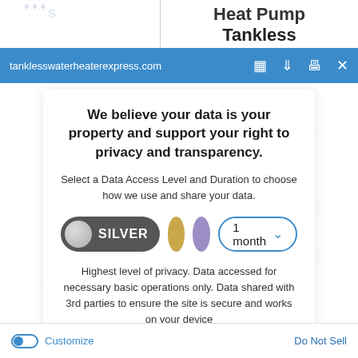Heat Pump / Tankless
tanklesswaterheaterexpress.com
We believe your data is your property and support your right to privacy and transparency.
Select a Data Access Level and Duration to choose how we use and share your data.
SILVER | 1 month (options: silver toggle, gold circle, purple circle)
Highest level of privacy. Data accessed for necessary basic operations only. Data shared with 3rd parties to ensure the site is secure and works on your device
Save my preferences
Customize | Do Not Sell